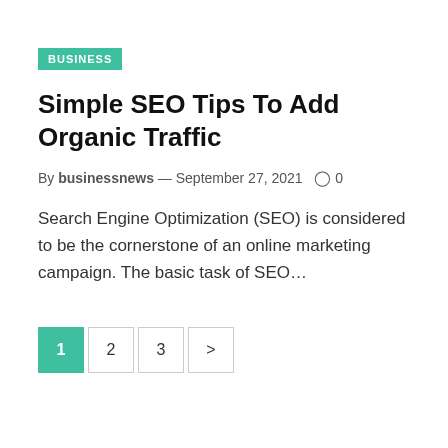BUSINESS
Simple SEO Tips To Add Organic Traffic
By businessnews — September 27, 2021   ○ 0
Search Engine Optimization (SEO) is considered to be the cornerstone of an online marketing campaign. The basic task of SEO…
1
2
3
>